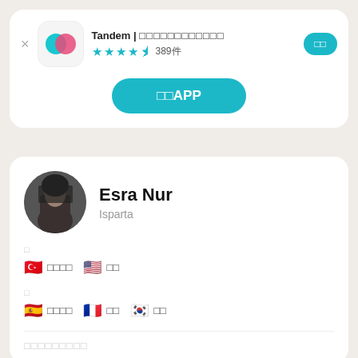Tandem | 언어교환 파트너 찾기
★★★★☆ 389件
开启APP
Esra Nur
Isparta
□
🇹🇷 □□□□  🇺🇸 □□
□
🇪🇸 □□□□  🇫🇷 □□  🇰🇷 □□
□□□□□□□□□